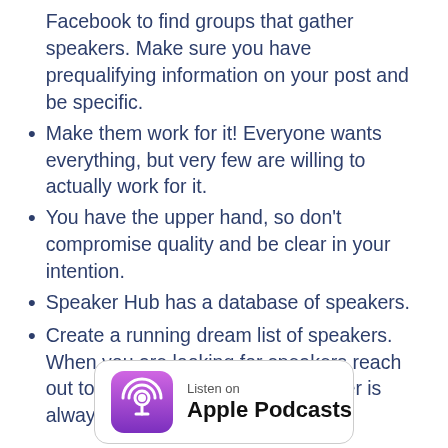Facebook to find groups that gather speakers. Make sure you have prequalifying information on your post and be specific.
Make them work for it! Everyone wants everything, but very few are willing to actually work for it.
You have the upper hand, so don't compromise quality and be clear in your intention.
Speaker Hub has a database of speakers.
Create a running dream list of speakers. When you are looking for speakers reach out to them on LinkedIn. The answer is always no if you don't ask.
[Figure (logo): Apple Podcasts badge with purple podcast icon and text 'Listen on Apple Podcasts']